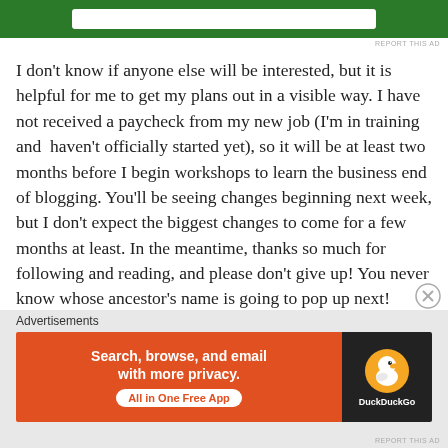[Figure (other): Green advertisement banner at top of page]
REPORT THIS AD
I don't know if anyone else will be interested, but it is helpful for me to get my plans out in a visible way. I have not received a paycheck from my new job (I'm in training and  haven't officially started yet), so it will be at least two months before I begin workshops to learn the business end of blogging. You'll be seeing changes beginning next week, but I don't expect the biggest changes to come for a few months at least. In the meantime, thanks so much for following and reading, and please don't give up! You never know whose ancestor's name is going to pop up next!
Advertisements
[Figure (other): DuckDuckGo advertisement banner: Search, browse, and email with more privacy. All in One Free App]
REPORT THIS AD